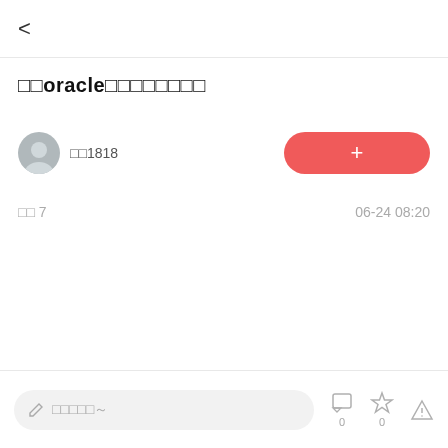<
□□oracle□□□□□□□□□□
□□1818
□□ 7  06-24 08:20
✏ □□□□□□~  □ 0  ☆ 0  △